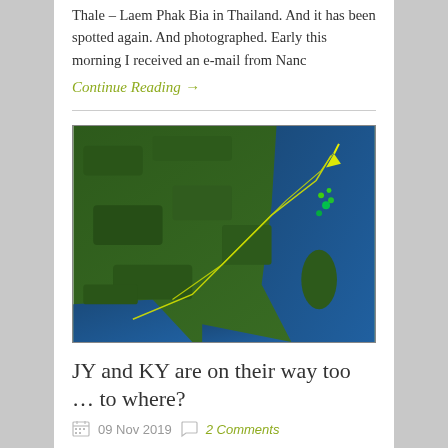Thale – Laem Phak Bia in Thailand. And it has been spotted again. And photographed. Early this morning I received an e-mail from Nanc
Continue Reading →
[Figure (map): Satellite tracking map showing bird migration routes over eastern China and Taiwan coastline, with yellow and green trajectory lines.]
JY and KY are on their way too … to where?
09 Nov 2019   2 Comments
Update from Baz Hughes and Guy Anderson Follow our satellite tagged spoonies by clicking